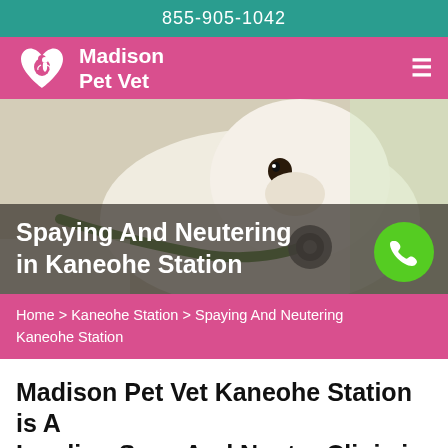855-905-1042
[Figure (logo): Madison Pet Vet logo with white heart and dog silhouette with stethoscope, pink background, hamburger menu icon]
[Figure (photo): White fluffy puppy with green stethoscope being held by a vet in white coat; hero image with dark semi-transparent overlay containing page title and phone button]
Spaying And Neutering in Kaneohe Station
Home > Kaneohe Station > Spaying And Neutering Kaneohe Station
Madison Pet Vet Kaneohe Station is A Leading Spay And Neuter Clinic in